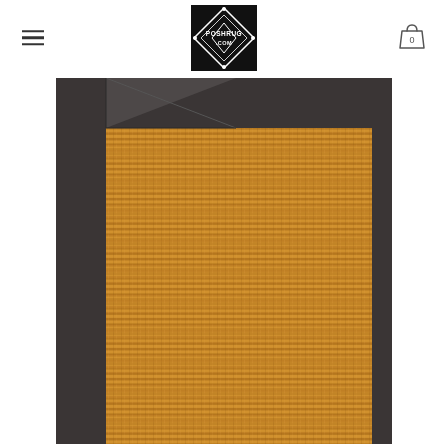[Figure (logo): PoshRug.com logo — black square diamond-shaped logo with geometric rug pattern and text POSHRUG.COM in white]
[Figure (photo): Close-up corner of a natural fiber sisal/jute rug with a dark charcoal/black leather border binding, showing the woven texture of the rug body]
[Figure (other): Shopping bag icon with the number 0 inside, indicating empty cart]